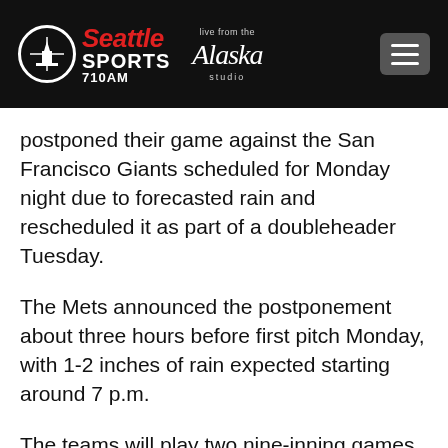[Figure (logo): Seattle Sports 710AM logo with Alaska Airlines studio branding on dark header bar]
postponed their game against the San Francisco Giants scheduled for Monday night due to forecasted rain and rescheduled it as part of a doubleheader Tuesday.
The Mets announced the postponement about three hours before first pitch Monday, with 1-2 inches of rain expected starting around 7 p.m.
The teams will play two nine-inning games Tuesday beginning at 3:10 p.m., with the second game to begin approximately 30-40